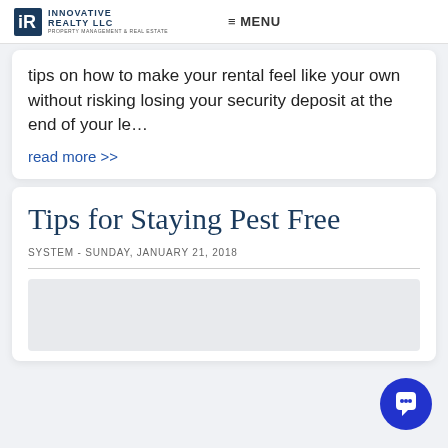INNOVATIVE REALTY LLC PROPERTY MANAGEMENT & REAL ESTATE | ≡ MENU
tips on how to make your rental feel like your own without risking losing your security deposit at the end of your le…
read more >>
Tips for Staying Pest Free
SYSTEM - SUNDAY, JANUARY 21, 2018
[Figure (photo): Image placeholder area at bottom of page]